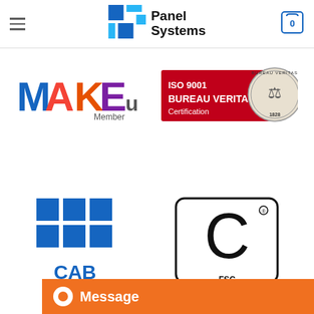[Figure (logo): Panel Systems logo with blue/teal grid icon and bold text reading Panel Systems]
[Figure (logo): MAKE uk Member logo with colorful bold letters]
[Figure (logo): ISO 9001 Bureau Veritas Certification logo with red background and medallion]
[Figure (logo): CAB logo with blue grid squares]
[Figure (logo): FSC certification logo partially visible]
Message